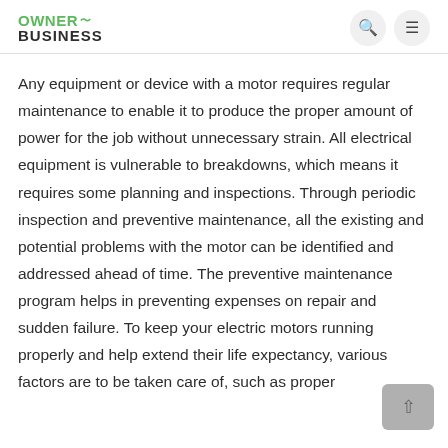OWNER BUSINESS
Any equipment or device with a motor requires regular maintenance to enable it to produce the proper amount of power for the job without unnecessary strain. All electrical equipment is vulnerable to breakdowns, which means it requires some planning and inspections. Through periodic inspection and preventive maintenance, all the existing and potential problems with the motor can be identified and addressed ahead of time. The preventive maintenance program helps in preventing expenses on repair and sudden failure. To keep your electric motors running properly and help extend their life expectancy, various factors are to be taken care of, such as proper